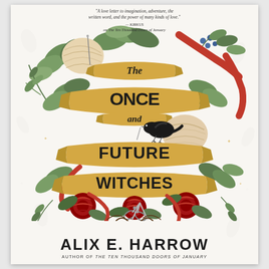"A love letter to imagination, adventure, the written word, and the power of many kinds of love." — KIRKUS on The Ten Thousand Doors of January
[Figure (illustration): Book cover illustration featuring decorative banner scrolls wrapped in yarn and red knitting, surrounded by botanical elements including green leaves, ferns, red roses, and blue berries. A black bird holds a needle in its beak. Red ribbon and scissors at the bottom. The title 'The Once and Future Witches' is displayed across three banner scrolls in bold black script lettering.]
The Once and Future Witches
ALIX E. HARROW
AUTHOR OF THE TEN THOUSAND DOORS OF JANUARY